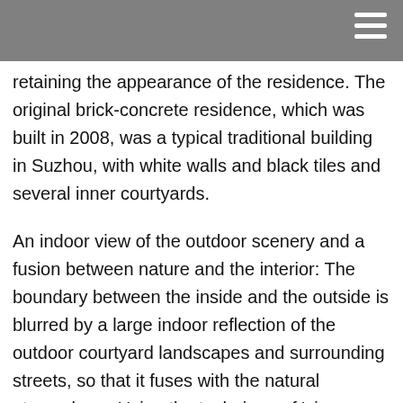[navigation bar with hamburger menu]
retaining the appearance of the residence. The original brick-concrete residence, which was built in 2008, was a typical traditional building in Suzhou, with white walls and black tiles and several inner courtyards.
An indoor view of the outdoor scenery and a fusion between nature and the interior: The boundary between the inside and the outside is blurred by a large indoor reflection of the outdoor courtyard landscapes and surrounding streets, so that it fuses with the natural atmosphere. Using the technique of 'view borrowing' in traditional gardens as a reference point, all inner courtyards and balconies have been retained and utilised, and windows have been renovated systematically, in order to successfully introduce inner courtyard landscapes and outside streets into the indoor space. As a result, this space is made